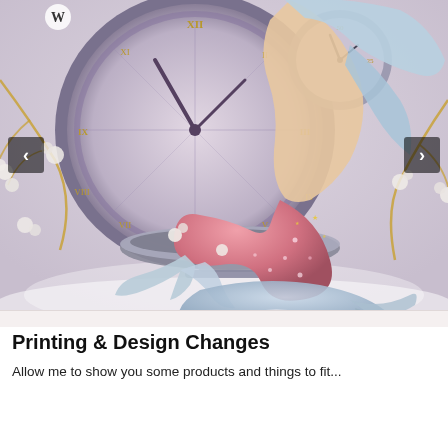[Figure (illustration): Fantasy illustration of a mermaid with blue hair and pink tail sitting beside a large ornate clock (compass-rose face with Roman numerals), surrounded by white cherry blossom branches on golden twigs. A blue-grey whale or sea creature rests below. Soft lavender-grey background. Navigation arrows on left and right sides.]
Printing & Design Changes
Allow me to show you some products and things to fit...